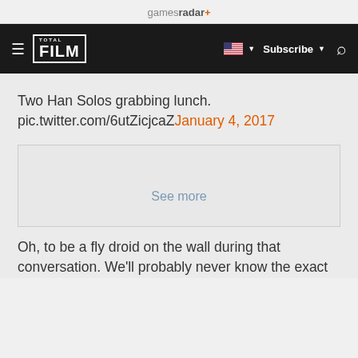gamesradar+
≡ FILM  🇺🇸 ▼  Subscribe ▼  🔍
Two Han Solos grabbing lunch. pic.twitter.com/6utZicjcaZJanuary 4, 2017
[Figure (screenshot): Collapsed/blurred tweet embed with 'See more' button]
Oh, to be a fly droid on the wall during that conversation. We'll probably never know the exact